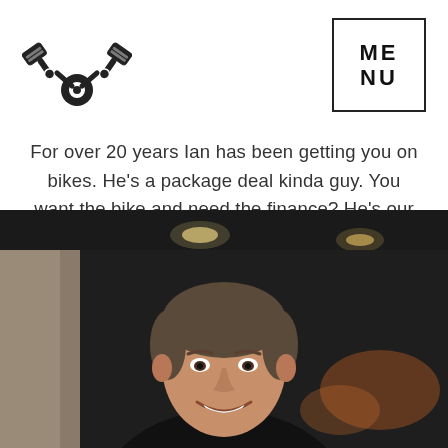[Figure (logo): Crossed pistons logo (V-twin engine style) in dark/black]
[Figure (other): Menu navigation box with bold text ME NU inside a square border]
For over 20 years Ian has been getting you on bikes. He's a package deal kinda guy. You want the bike and need the finance? He's our man, but we'll lend him to you ☺
[Figure (photo): Photo of a middle-aged man smiling, short hair, wearing a dark shirt, inside what appears to be a motorcycle dealership with dark ceiling and lights in background]